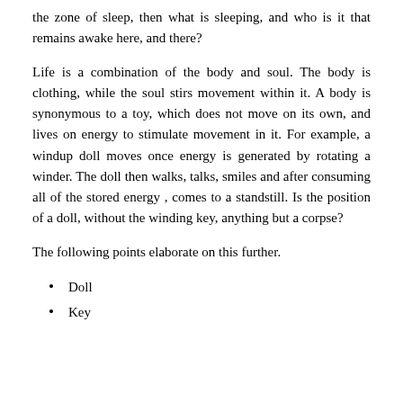the zone of sleep, then what is sleeping, and who is it that remains awake here, and there?
Life is a combination of the body and soul. The body is clothing, while the soul stirs movement within it. A body is synonymous to a toy, which does not move on its own, and lives on energy to stimulate movement in it. For example, a windup doll moves once energy is generated by rotating a winder. The doll then walks, talks, smiles and after consuming all of the stored energy , comes to a standstill. Is the position of a doll, without the winding key, anything but a corpse?
The following points elaborate on this further.
Doll
Key